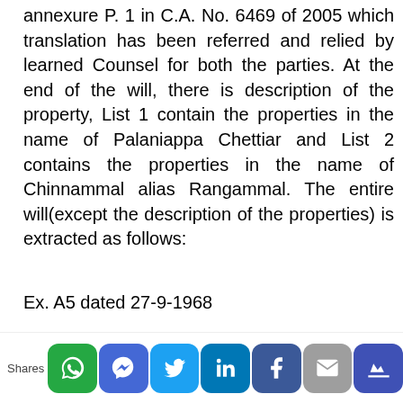annexure P. 1 in C.A. No. 6469 of 2005 which translation has been referred and relied by learned Counsel for both the parties. At the end of the will, there is description of the property, List 1 contain the properties in the name of Palaniappa Chettiar and List 2 contains the properties in the name of Chinnammal alias Rangammal. The entire will(except the description of the properties) is extracted as follows:
Ex. A5 dated 27-9-1968
The Registration of the Will executed by Palaniappa Chettiar and Rangammal:
Doct. No. 76/1968:
[Figure (other): Social sharing bar with icons for WhatsApp, Messenger, Twitter, LinkedIn, Facebook, Email, and a crown/bookmark button. Label 'Shares' on the left.]